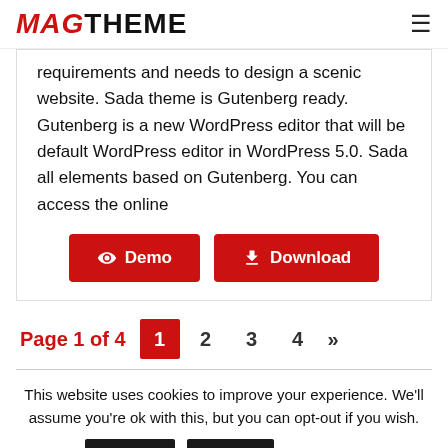MAGTHEME
requirements and needs to design a scenic website. Sada theme is Gutenberg ready. Gutenberg is a new WordPress editor that will be default WordPress editor in WordPress 5.0. Sada all elements based on Gutenberg. You can access the online
Demo   Download
Page 1 of 4   1   2   3   4   »
This website uses cookies to improve your experience. We'll assume you're ok with this, but you can opt-out if you wish.   Accept   Reject   Read More